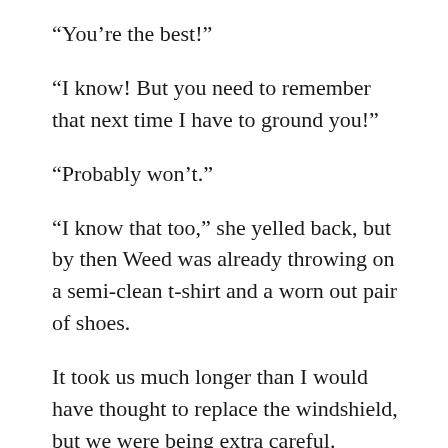“You’re the best!”
“I know! But you need to remember that next time I have to ground you!”
“Probably won’t.”
“I know that too,” she yelled back, but by then Weed was already throwing on a semi-clean t-shirt and a worn out pair of shoes.
It took us much longer than I would have thought to replace the windshield, but we were being extra careful. FInkenbine had said it was the only one he could find. The memory of